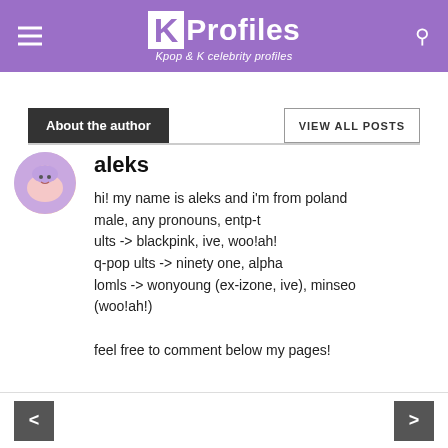KProfiles – Kpop & K celebrity profiles
About the author
VIEW ALL POSTS
aleks
hi! my name is aleks and i'm from poland
male, any pronouns, entp-t
ults -> blackpink, ive, woo!ah!
q-pop ults -> ninety one, alpha
lomls -> wonyoung (ex-izone, ive), minseo (woo!ah!)

feel free to comment below my pages!
< >